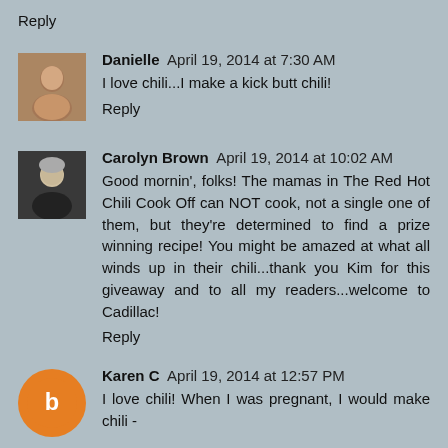Reply
Danielle  April 19, 2014 at 7:30 AM
I love chili...I make a kick butt chili!
Reply
Carolyn Brown  April 19, 2014 at 10:02 AM
Good mornin', folks! The mamas in The Red Hot Chili Cook Off can NOT cook, not a single one of them, but they're determined to find a prize winning recipe! You might be amazed at what all winds up in their chili...thank you Kim for this giveaway and to all my readers...welcome to Cadillac!
Reply
Karen C  April 19, 2014 at 12:57 PM
I love chili! When I was pregnant, I would make chili -